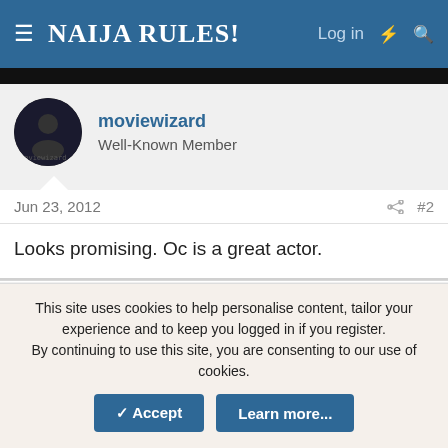NAIJA RULES! Log in
[Figure (screenshot): Black banner/image strip at top of page]
moviewizard
Well-Known Member
Jun 23, 2012  #2
Looks promising. Oc is a great actor.
Kala Lou
Well-Known Member
Jun 24, 2012  #3
This site uses cookies to help personalise content, tailor your experience and to keep you logged in if you register.
By continuing to use this site, you are consenting to our use of cookies.